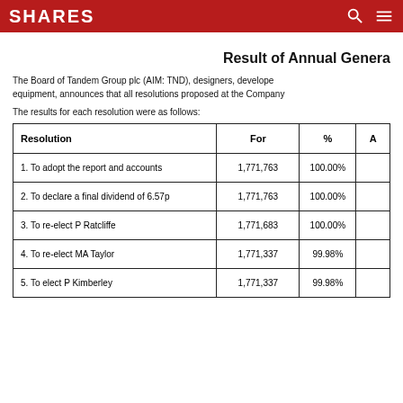SHARES
Result of Annual Genera
The Board of Tandem Group plc (AIM: TND), designers, develope equipment, announces that all resolutions proposed at the Company
The results for each resolution were as follows:
| Resolution | For | % | A |
| --- | --- | --- | --- |
| 1. To adopt the report and accounts | 1,771,763 | 100.00% |  |
| 2. To declare a final dividend of 6.57p | 1,771,763 | 100.00% |  |
| 3. To re-elect P Ratcliffe | 1,771,683 | 100.00% |  |
| 4. To re-elect MA Taylor | 1,771,337 | 99.98% |  |
| 5. To elect P Kimberley | 1,771,337 | 99.98% |  |